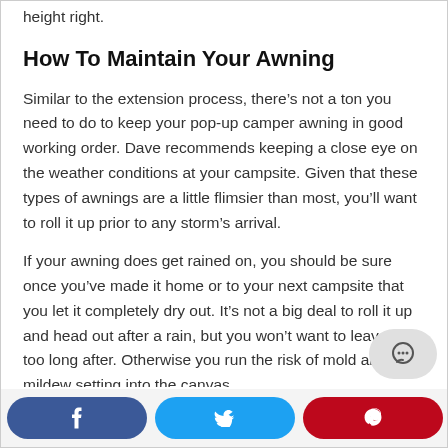height right.
How To Maintain Your Awning
Similar to the extension process, there’s not a ton you need to do to keep your pop-up camper awning in good working order. Dave recommends keeping a close eye on the weather conditions at your campsite. Given that these types of awnings are a little flimsier than most, you’ll want to roll it up prior to any storm’s arrival.
If your awning does get rained on, you should be sure once you’ve made it home or to your next campsite that you let it completely dry out. It’s not a big deal to roll it up and head out after a rain, but you won’t want to leave it too long after. Otherwise you run the risk of mold and mildew setting into the canvas.